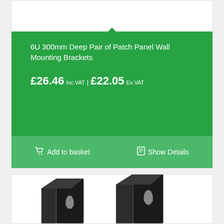6U 300mm Deep Pair of Patch Panel Wall Mounting Brackets
£26.46 Inc.VAT | £22.05 Ex.VAT
Add to basket
Show Details
[Figure (photo): Photo of two black metal wall mounting brackets for patch panels, shown against a white background.]